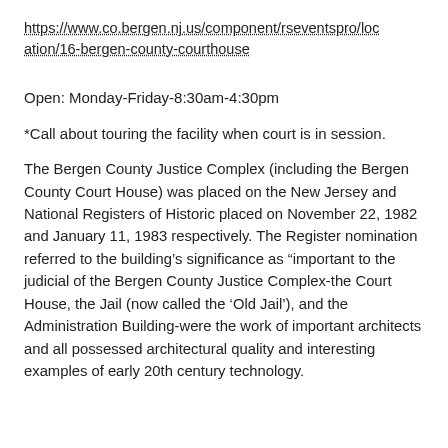https://www.co.bergen.nj.us/component/rseventspro/location/16-bergen-county-courthouse
Open: Monday-Friday-8:30am-4:30pm
*Call about touring the facility when court is in session.
The Bergen County Justice Complex (including the Bergen County Court House) was placed on the New Jersey and National Registers of Historic placed on November 22, 1982 and January 11, 1983 respectively. The Register nomination referred to the building’s significance as “important to the judicial of the Bergen County Justice Complex-the Court House, the Jail (now called the ‘Old Jail’), and the Administration Building-were the work of important architects and all possessed architectural quality and interesting examples of early 20th century technology.